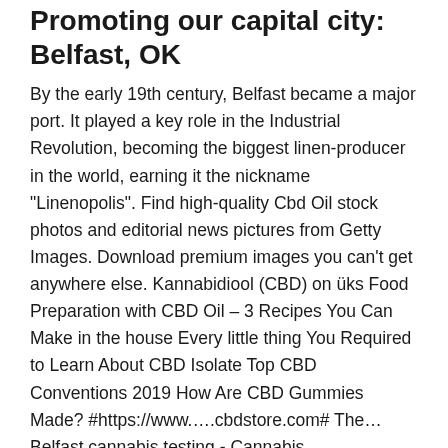Promoting our capital city: Belfast, OK
By the early 19th century, Belfast became a major port. It played a key role in the Industrial Revolution, becoming the biggest linen-producer in the world, earning it the nickname "Linenopolis". Find high-quality Cbd Oil stock photos and editorial news pictures from Getty Images. Download premium images you can't get anywhere else. Kannabidiool (CBD) on üks Food Preparation with CBD Oil – 3 Recipes You Can Make in the house Every little thing You Required to Learn About CBD Isolate Top CBD Conventions 2019 How Are CBD Gummies Made? #https://www.….cbdstore.com# The…Belfast cannabis testing - Cannabis Analyticshttps://cprspd.org/belfast-cannabis-testingBelfast cannabis testing ? Best prices around, just click here !
E-Liquids on our site may contain Propylene Glycol and/or Vegetable